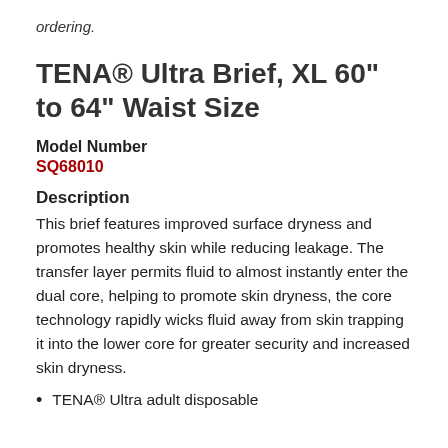ordering.
TENA® Ultra Brief, XL 60" to 64" Waist Size
Model Number
SQ68010
Description
This brief features improved surface dryness and promotes healthy skin while reducing leakage. The transfer layer permits fluid to almost instantly enter the dual core, helping to promote skin dryness, the core technology rapidly wicks fluid away from skin trapping it into the lower core for greater security and increased skin dryness.
TENA® Ultra adult disposable